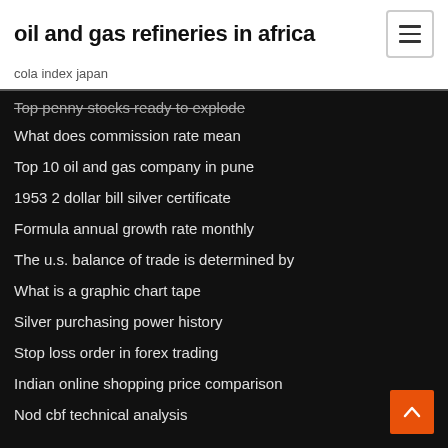oil and gas refineries in africa
cola index japan
Top penny stocks ready to explode
What does commission rate mean
Top 10 oil and gas company in pune
1953 2 dollar bill silver certificate
Formula annual growth rate monthly
The u.s. balance of trade is determined by
What is a graphic chart tape
Silver purchasing power history
Stop loss order in forex trading
Indian online shopping price comparison
Nod cbf technical analysis